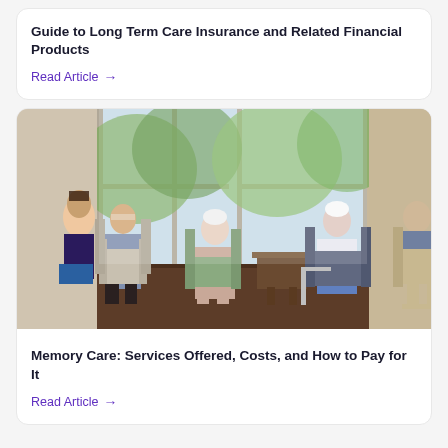Guide to Long Term Care Insurance and Related Financial Products
Read Article →
[Figure (photo): Group of elderly people sitting in armchairs in a sunlit room with large windows, a caregiver kneeling beside them. Indoor care home setting with greenery visible outside.]
Memory Care: Services Offered, Costs, and How to Pay for It
Read Article →